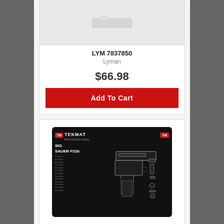[Figure (photo): Product image of Lyman item LYM 7837850 shown against light background]
LYM 7837850
Lyman
$66.98
Add To Cart
[Figure (photo): TekMat cleaning mat for SIG Sauer P226, black mat with exploded diagram of pistol parts and parts list]